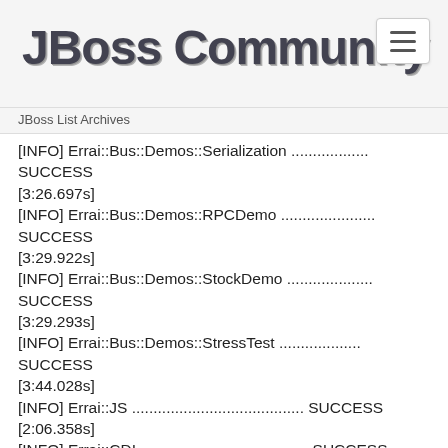JBoss Community
[INFO] Errai::Bus::Demos::Serialization .................. SUCCESS [3:26.697s]
[INFO] Errai::Bus::Demos::RPCDemo ...................... SUCCESS [3:29.922s]
[INFO] Errai::Bus::Demos::StockDemo .................... SUCCESS [3:29.293s]
[INFO] Errai::Bus::Demos::StressTest ................... SUCCESS [3:44.028s]
[INFO] Errai::JS ........................................ SUCCESS [2:06.358s]
[INFO] Errai::CDI ....................................... SUCCESS [4.944s]
[INFO] Errai::CDI::Jetty ............................... SUCCESS [12.596s]
[INFO] Errai::CDI::Client .............................. SUCCESS [12.439s]
[INFO] Errai::CDI::Weld Integration .................... SUCCESS [16:47.447s]
[INFO] Errai::CDI::Demo::Mobile ........................ SUCCESS [3:57.859s]
[INFO] Errai::UI::Binder ............................... SUCCESS